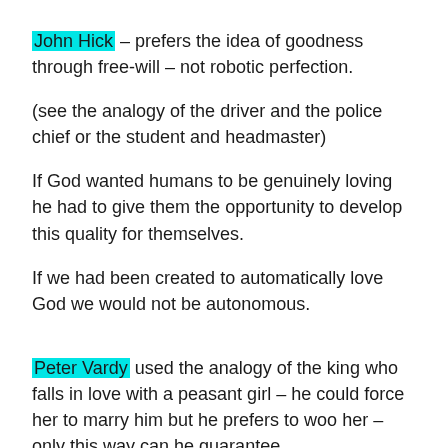John Hick – prefers the idea of goodness through free-will – not robotic perfection.
(see the analogy of the driver and the police chief or the student and headmaster)
If God wanted humans to be genuinely loving he had to give them the opportunity to develop this quality for themselves.
If we had been created to automatically love God we would not be autonomous.
Peter Vardy used the analogy of the king who falls in love with a peasant girl – he could force her to marry him but he prefers to woo her – only this way can he guarantee